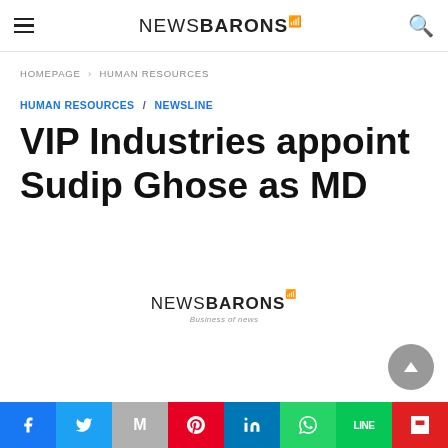NEWSBARONS
HOMEPAGE › HUMAN RESOURCES
HUMAN RESOURCES / NEWSLINE
VIP Industries appoint Sudip Ghose as MD
[Figure (logo): NewsBarons logo with tagline 'Business of news']
Social share bar: Facebook, Twitter, Mail, Pinterest, LinkedIn, WhatsApp, Line, Flipboard